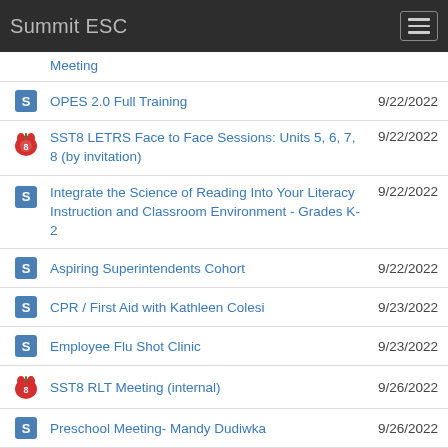Summit ESC
Meeting
OPES 2.0 Full Training
SST8 LETRS Face to Face Sessions: Units 5, 6, 7, 8 (by invitation)
Integrate the Science of Reading Into Your Literacy Instruction and Classroom Environment - Grades K-2
Aspiring Superintendents Cohort
CPR / First Aid with Kathleen Colesi
Employee Flu Shot Clinic
SST8 RLT Meeting (internal)
Preschool Meeting- Mandy Dudiwka